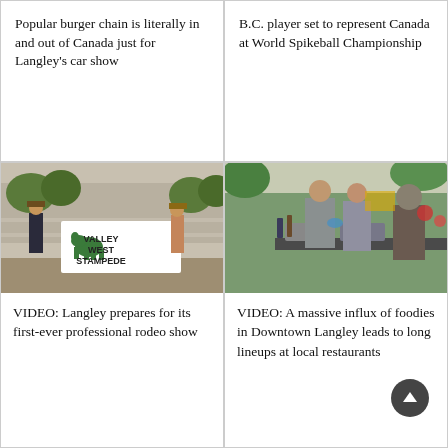Popular burger chain is literally in and out of Canada just for Langley’s car show
B.C. player set to represent Canada at World Spikeball Championship
[Figure (photo): Two people standing with a Valley West Stampede banner at an outdoor rodeo arena]
VIDEO: Langley prepares for its first-ever professional rodeo show
[Figure (photo): People serving food at a food booth at a Downtown Langley event]
VIDEO: A massive influx of foodies in Downtown Langley leads to long lineups at local restaurants